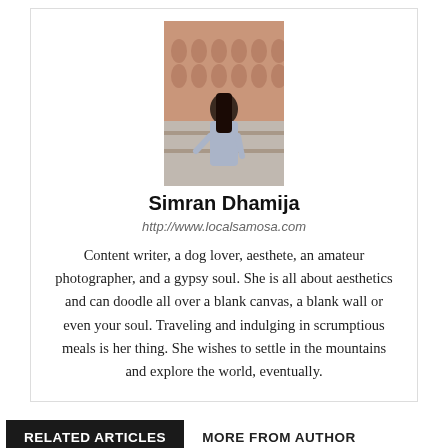[Figure (photo): Profile photo of Simran Dhamija standing in front of a pink/terracotta ornate building (Hawa Mahal, Jaipur), wearing a light blue outfit]
Simran Dhamija
http://www.localsamosa.com
Content writer, a dog lover, aesthete, an amateur photographer, and a gypsy soul. She is all about aesthetics and can doodle all over a blank canvas, a blank wall or even your soul. Traveling and indulging in scrumptious meals is her thing. She wishes to settle in the mountains and explore the world, eventually.
RELATED ARTICLES	MORE FROM AUTHOR
[Figure (photo): Thumbnail image showing a dog being held or pet by a person, blurred/light tones]
Adoption of dogs by families: A quick conversation with two organizations